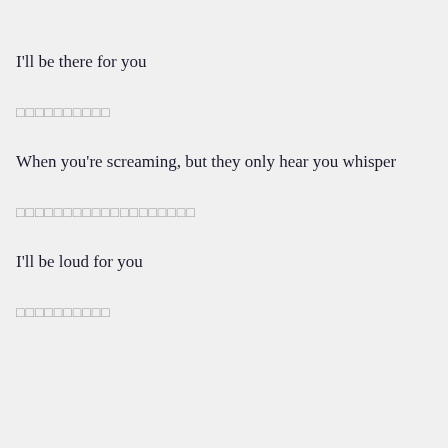I'll be there for you
□□□□□□□□□□
When you're screaming, but they only hear you whisper
□□□□□□□□□□□□□□□□□□□
I'll be loud for you
□□□□□□□□□□